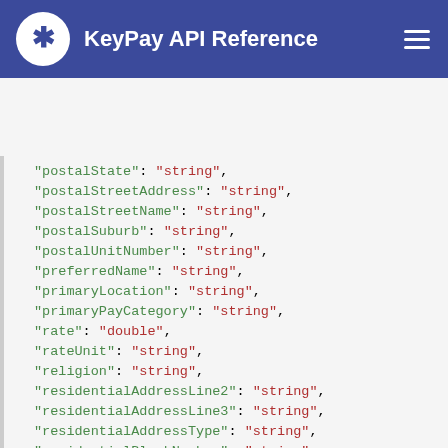KeyPay API Reference
"postalState": "string",
"postalStreetAddress": "string",
"postalStreetName": "string",
"postalSuburb": "string",
"postalUnitNumber": "string",
"preferredName": "string",
"primaryLocation": "string",
"primaryPayCategory": "string",
"rate": "double",
"rateUnit": "string",
"religion": "string",
"residentialAddressLine2": "string",
"residentialAddressLine3": "string",
"residentialAddressType": "string",
"residentialBlockNumber": "string",
"residentialCountry": "string",
"residentialLevelNumber": "string",
"residentialPostCode": "string",
"residentialState": "string",
"residentialStreetAddress": "string",